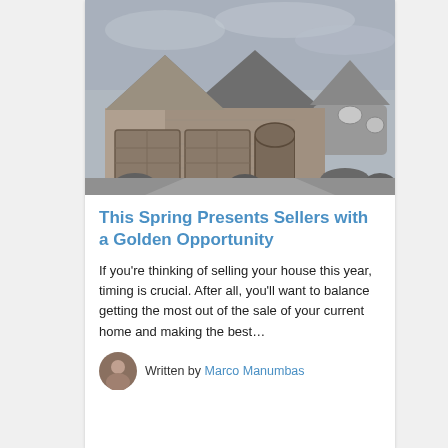[Figure (photo): Black and white photograph of a large stone house with double garage doors, turret, and landscaped front yard]
This Spring Presents Sellers with a Golden Opportunity
If you're thinking of selling your house this year, timing is crucial. After all, you'll want to balance getting the most out of the sale of your current home and making the best…
Written by Marco Manumbas